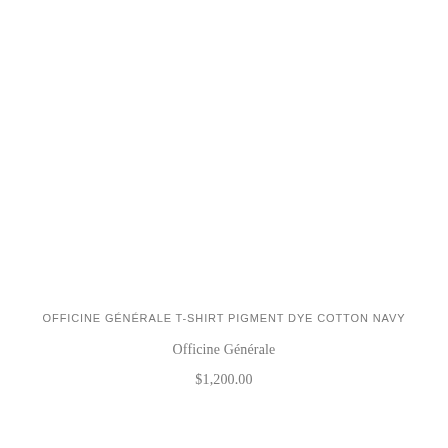OFFICINE GÉNÉRALE T-SHIRT PIGMENT DYE COTTON NAVY
Officine Générale
$1,200.00